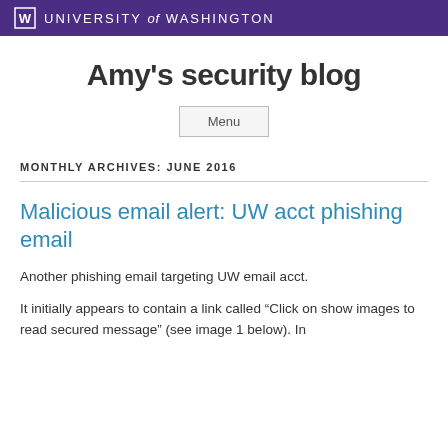W UNIVERSITY of WASHINGTON
Amy's security blog
Menu
MONTHLY ARCHIVES: JUNE 2016
Malicious email alert: UW acct phishing email
Another phishing email targeting UW email acct.
It initially appears to contain a link called “Click on show images to read secured message” (see image 1 below). In